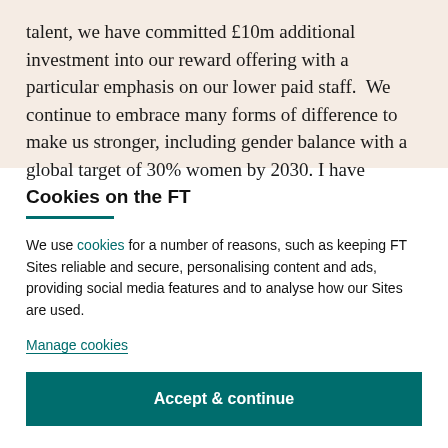talent, we have committed £10m additional investment into our reward offering with a particular emphasis on our lower paid staff.  We continue to embrace many forms of difference to make us stronger, including gender balance with a global target of 30% women by 2030. I have
Cookies on the FT
We use cookies for a number of reasons, such as keeping FT Sites reliable and secure, personalising content and ads, providing social media features and to analyse how our Sites are used.
Manage cookies
Accept & continue